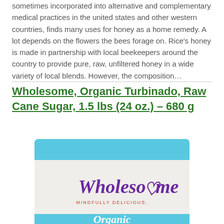sometimes incorporated into alternative and complementary medical practices in the united states and other western countries, finds many uses for honey as a home remedy. A lot depends on the flowers the bees forage on. Rice's honey is made in partnership with local beekeepers around the country to provide pure, raw, unfiltered honey in a wide variety of local blends. However, the composition…
Wholesome, Organic Turbinado, Raw Cane Sugar, 1.5 lbs (24 oz.) – 680 g
[Figure (photo): Product photo of Wholesome brand Organic Turbinado Raw Cane Sugar in a light blue and white resealable bag with purple 'Wholesome' cursive logo and 'MINDFULLY DELICIOUS.' tagline, partial view showing top and middle of package with 'Organic' text at bottom]